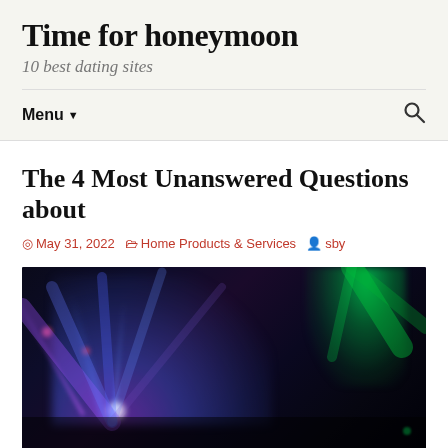Time for honeymoon
10 best dating sites
Menu
The 4 Most Unanswered Questions about
May 31, 2022   Home Products & Services   sby
[Figure (photo): Nightclub or concert scene with colorful stage lighting — purple, blue, and green laser/spotlight beams radiating outward against a dark background.]